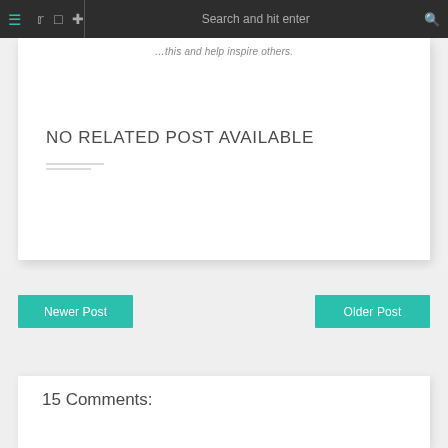Search and hit enter
…this and help inspire others.
NO RELATED POST AVAILABLE
Newer Post
Older Post
15 Comments: